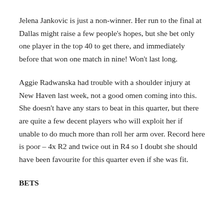Jelena Jankovic is just a non-winner. Her run to the final at Dallas might raise a few people's hopes, but she bet only one player in the top 40 to get there, and immediately before that won one match in nine! Won't last long.
Aggie Radwanska had trouble with a shoulder injury at New Haven last week, not a good omen coming into this. She doesn't have any stars to beat in this quarter, but there are quite a few decent players who will exploit her if unable to do much more than roll her arm over. Record here is poor – 4x R2 and twice out in R4 so I doubt she should have been favourite for this quarter even if she was fit.
BETS